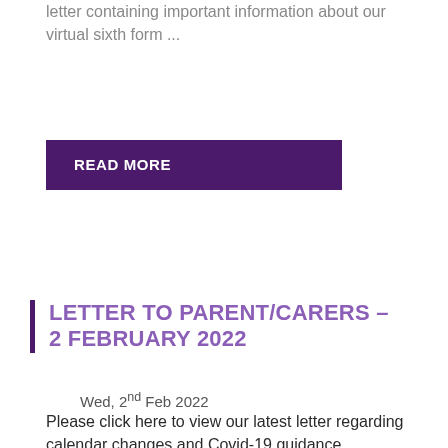letter containing important information about our virtual sixth form ...
READ MORE
LETTER TO PARENT/CARERS – 2 FEBRUARY 2022
Wed, 2nd Feb 2022
Please click here to view our latest letter regarding calendar changes and Covid-19 guidance